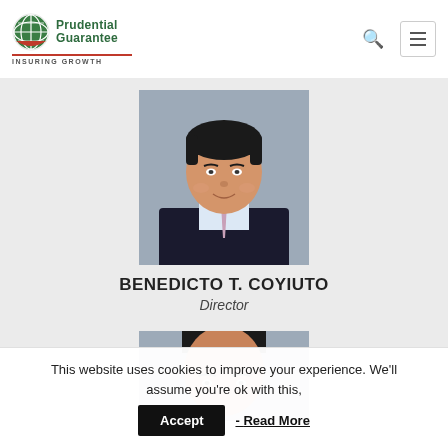[Figure (logo): Prudential Guarantee logo with green globe icon and tagline INSURING GROWTH]
[Figure (photo): Headshot of Benedicto T. Coyiuto, male in dark suit with tie, against gray background]
BENEDICTO T. COYIUTO
Director
[Figure (photo): Partial headshot of another person, cropped at bottom of page]
This website uses cookies to improve your experience. We'll assume you're ok with this, - Read More